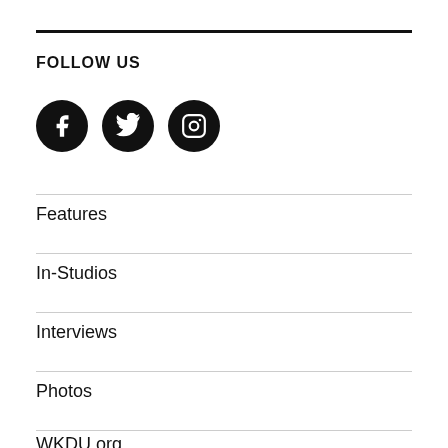FOLLOW US
[Figure (illustration): Three social media icons (Facebook, Twitter, Instagram) as white icons on black circles]
Features
In-Studios
Interviews
Photos
WKDU.org